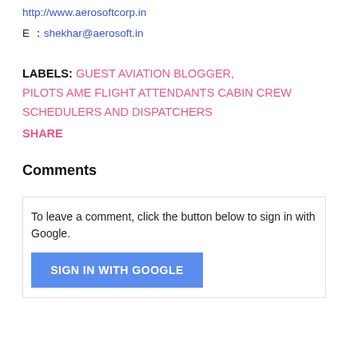http://www.aerosoftcorp.in
E :  shekhar@aerosoft.in
LABELS: GUEST AVIATION BLOGGER, PILOTS AME FLIGHT ATTENDANTS CABIN CREW SCHEDULERS AND DISPATCHERS
SHARE
Comments
To leave a comment, click the button below to sign in with Google.
SIGN IN WITH GOOGLE